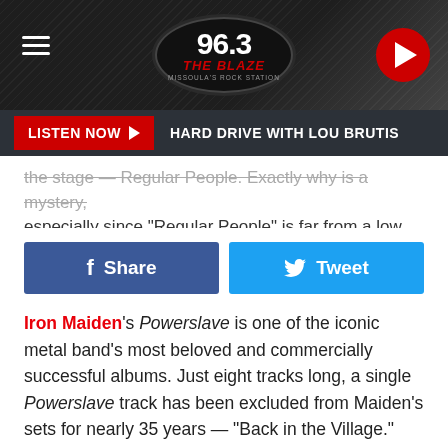96.3 The Blaze - Missoula's Rock Station
LISTEN NOW ▶  HARD DRIVE WITH LOU BRUTIS
the stage — "Regular People." Exactly why is a mystery, especially since "Regular People" is far from a low point on the...
Iron Maiden's Powerslave is one of the iconic metal band's most beloved and commercially successful albums. Just eight tracks long, a single Powerslave track has been excluded from Maiden's sets for nearly 35 years — "Back in the Village." Even the instrumental "Losfer Words (Big 'Orra) " has been played dozens of times!
Meshuggah is the most powerful rhythm machine on the planet, devastating fans with intricate and wildly technical